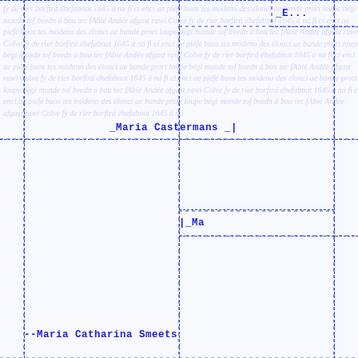Maria Castermans
--Maria Catharina Smeets
_Ma...
E...
Maria Gertrudis Maurissen